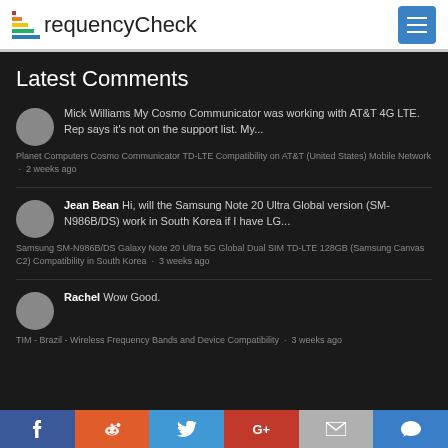FrequencyCheck
Latest Comments
Mick Williams My Cosmo Communicator was working with AT&T 4G LTE. Rep says it's not on the support list. My...
Planet Computers Cosmo Communicator TD-LTE Compatibility on AT&T (United States) Mobile Network · 2 weeks ago
Jean Bean Hi, will the Samsung Note 20 Ultra Global version (SM-N986B/DS) work in South Korea if I have LG...
Samsung SM-N986B/DS Galaxy Note 20 Ultra 5G Global Dual SIM TD-LTE 128GB (Samsung Canvas C2) Compatibility in South Korea · 3 weeks ago
Rachel Wow Good.
TIM - Brazil - Wireless Frequency Bands and Device Compatibility · 3 weeks ago